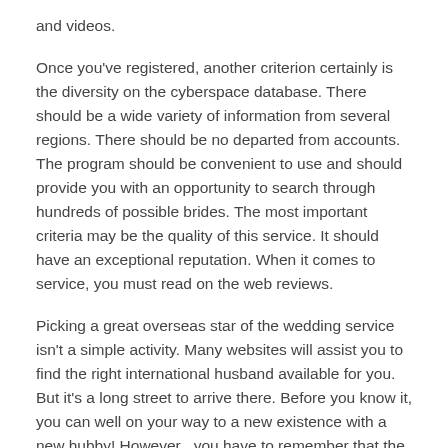and videos.
Once you've registered, another criterion certainly is the diversity on the cyberspace database. There should be a wide variety of information from several regions. There should be no departed from accounts. The program should be convenient to use and should provide you with an opportunity to search through hundreds of possible brides. The most important criteria may be the quality of this service. It should have an exceptional reputation. When it comes to service, you must read on the web reviews.
Picking a great overseas star of the wedding service isn't a simple activity. Many websites will assist you to find the right international husband available for you. But it's a long street to arrive there. Before you know it, you can well on your way to a new existence with a new hubby! However , you have to remember that the choosing a great overseas new bride is not easy. The task can be long and high-priced, but it will provide you with the satisfaction